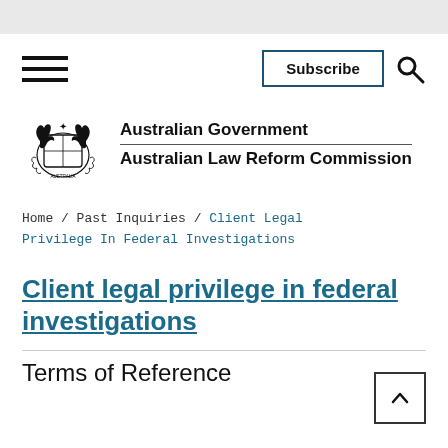[Figure (logo): Australian Government coat of arms with kangaroo and emu, with text: Australian Government / Australian Law Reform Commission]
Home / Past Inquiries / Client Legal Privilege In Federal Investigations
Client legal privilege in federal investigations
Terms of Reference